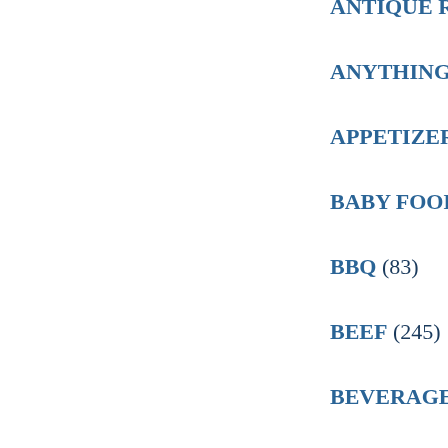ANTIQUE RECIPES
ANYTHING ITALIAN
APPETIZERS/SNACKS
BABY FOODS/IDEAS
BBQ (83)
BEEF (245)
BEVERAGES/NON A
BIRTHDAY IDEAS (5
BLENDER/FOOD PR
BORROWED RECIPES
BRAZILLIAN (1)
BREADS/PASTRIES
BREAKFAST/BRUNC
BROWNIES (79)
BUTTER (8)